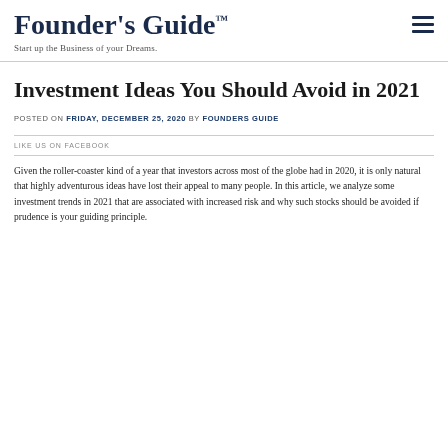Founder's Guide™
Start up the Business of your Dreams.
Investment Ideas You Should Avoid in 2021
POSTED ON FRIDAY, DECEMBER 25, 2020 BY FOUNDERS GUIDE
LIKE US ON FACEBOOK
Given the roller-coaster kind of a year that investors across most of the globe had in 2020, it is only natural that highly adventurous ideas have lost their appeal to many people. In this article, we analyze some investment trends in 2021 that are associated with increased risk and why such stocks should be avoided if prudence is your guiding principle.